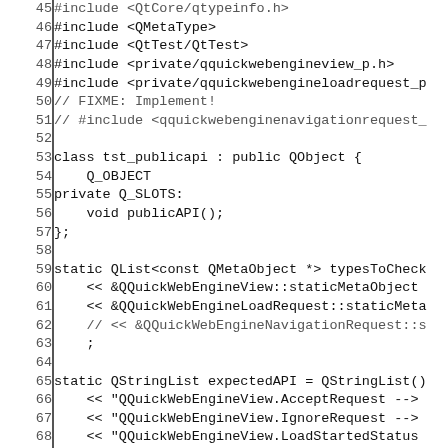Code listing lines 45-75, C++ source file showing Qt WebEngine public API test
45: #include <QtCore/qtypeinfo.h> (truncated top)
46: #include <QMetaType>
47: #include <QtTest/QtTest>
48: #include <private/qquickwebengineview_p.h>
49: #include <private/qquickwebengineloadrequest_p...
50: // FIXME: Implement!
51: // #include <qquickwebenginenavigationrequest...
52: (blank)
53: class tst_publicapi : public QObject {
54:     Q_OBJECT
55: private Q_SLOTS:
56:     void publicAPI();
57: };
58: (blank)
59: static QList<const QMetaObject *> typesToCheck
60:     << &QQuickWebEngineView::staticMetaObject
61:     << &QQuickWebEngineLoadRequest::staticMeta...
62:     // << &QQuickWebEngineNavigationRequest::s...
63:     ;
64: (blank)
65: static QStringList expectedAPI = QStringList()
66:     << "QQuickWebEngineView.AcceptRequest -->
67:     << "QQuickWebEngineView.IgnoreRequest -->
68:     << "QQuickWebEngineView.LoadStartedStatus
69:     << "QQuickWebEngineView.LoadStoppedStatus
70:     << "QQuickWebEngineView.LoadSucceededStatu
71:     << "QQuickWebEngineView.LoadFailedStatus -
72:     << "QQuickWebEngineView.NoErrorDomain -->
73:     << "QQuickWebEngineView.InternalErrorDomai
74:     << "QQuickWebEngineView.ConnectionErrorDom
75:     << "QQuickWebEngineView.CertificateErrorD...